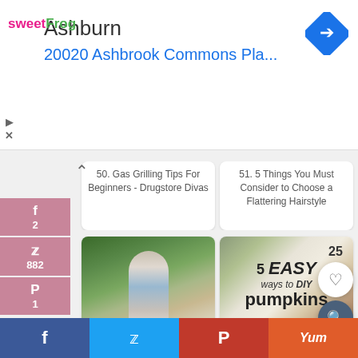[Figure (screenshot): Ad banner: sweetFrog logo, Ashburn city name, 20020 Ashbrook Commons Pla... address in blue, navigation arrow icon]
50. Gas Grilling Tips For Beginners - Drugstore Divas
51. 5 Things You Must Consider to Choose a Flattering Hairstyle
[Figure (photo): Photo of a woman in white blazer and jeans standing on a garden path]
visit link
52. Your Colour and Style Questions Answered on Video: 75
[Figure (photo): Image with text: 5 EASY ways to DIY pumpkins, with white pumpkins and pine cone]
visit link
53. 5 easy ways to DIY pumpkins
25
885
SHARES
f  t  P  Yum